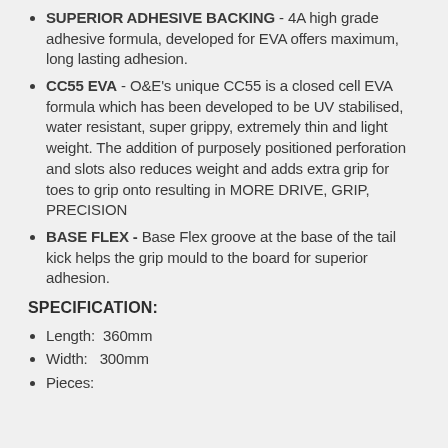SUPERIOR ADHESIVE BACKING - 4A high grade adhesive formula, developed for EVA offers maximum, long lasting adhesion.
CC55 EVA - O&E's unique CC55 is a closed cell EVA formula which has been developed to be UV stabilised, water resistant, super grippy, extremely thin and light weight. The addition of purposely positioned perforation and slots also reduces weight and adds extra grip for toes to grip onto resulting in MORE DRIVE, GRIP, PRECISION
BASE FLEX - Base Flex groove at the base of the tail kick helps the grip mould to the board for superior adhesion.
SPECIFICATION:
Length:  360mm
Width:  300mm
Pieces:  5